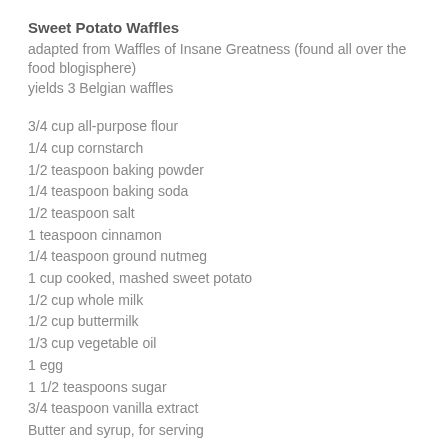Sweet Potato Waffles
adapted from Waffles of Insane Greatness (found all over the food blogisphere)
yields 3 Belgian waffles
3/4 cup all-purpose flour
1/4 cup cornstarch
1/2 teaspoon baking powder
1/4 teaspoon baking soda
1/2 teaspoon salt
1 teaspoon cinnamon
1/4 teaspoon ground nutmeg
1 cup cooked, mashed sweet potato
1/2 cup whole milk
1/2 cup buttermilk
1/3 cup vegetable oil
1 egg
1 1/2 teaspoons sugar
3/4 teaspoon vanilla extract
Butter and syrup, for serving